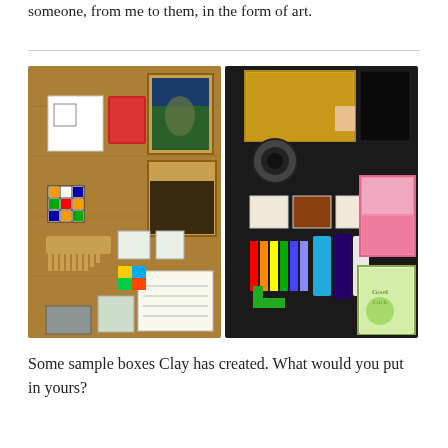someone, from me to them, in the form of art.
[Figure (photo): Two side-by-side photos of sample boxes Clay has created. Left photo shows a wooden surface with various small art and craft items laid out including a framed painting, notebooks, a Rubik's cube, cards, stamps, and stationery. Right photo shows a dark surface with a yellow wooden box, clay tiles, colorful sticks/brushes, combs, a decorated pink jewelry box, and a book titled 'Good Luck'.]
Some sample boxes Clay has created. What would you put in yours?